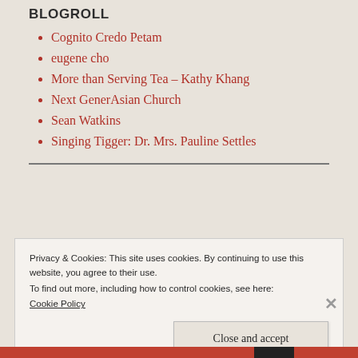BLOGROLL
Cognito Credo Petam
eugene cho
More than Serving Tea – Kathy Khang
Next GenerAsian Church
Sean Watkins
Singing Tigger: Dr. Mrs. Pauline Settles
Privacy & Cookies: This site uses cookies. By continuing to use this website, you agree to their use.
To find out more, including how to control cookies, see here:
Cookie Policy
Close and accept